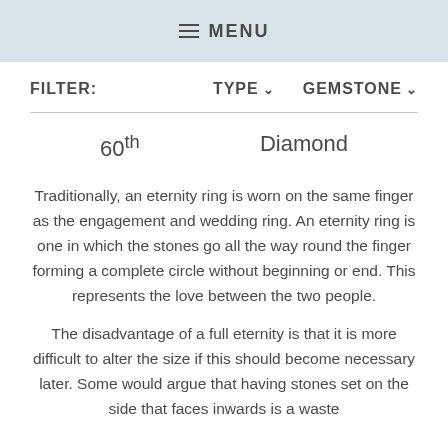≡ MENU
FILTER:   TYPE ∨   GEMSTONE ∨
60th   Diamond
Traditionally, an eternity ring is worn on the same finger as the engagement and wedding ring. An eternity ring is one in which the stones go all the way round the finger forming a complete circle without beginning or end. This represents the love between the two people.
The disadvantage of a full eternity is that it is more difficult to alter the size if this should become necessary later. Some would argue that having stones set on the side that faces inwards is a waste